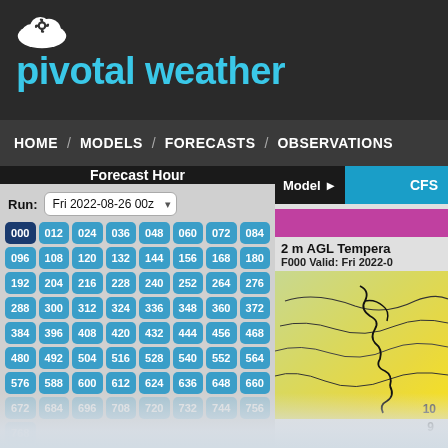[Figure (logo): Pivotal Weather logo: white cloud with gear icon above text 'pivotal weather' in cyan on dark background]
HOME / MODELS / FORECASTS / OBSERVATIONS
Forecast Hour
Run: Fri 2022-08-26 00z
| 000 | 012 | 024 | 036 | 048 | 060 | 072 | 084 |
| 096 | 108 | 120 | 132 | 144 | 156 | 168 | 180 |
| 192 | 204 | 216 | 228 | 240 | 252 | 264 | 276 |
| 288 | 300 | 312 | 324 | 336 | 348 | 360 | 372 |
| 384 | 396 | 408 | 420 | 432 | 444 | 456 | 468 |
| 480 | 492 | 504 | 516 | 528 | 540 | 552 | 564 |
| 576 | 588 | 600 | 612 | 624 | 636 | 648 | 660 |
| 672 | 684 | 696 | 708 | 720 | 732 | 744 | 756 |
| 768 |
Model ► CFS
2 m AGL Tempera…
F000 Valid: Fri 2022-0…
[Figure (map): Weather map showing 2m AGL temperature analysis with yellow-green color gradient, black contour lines over a geographic region]